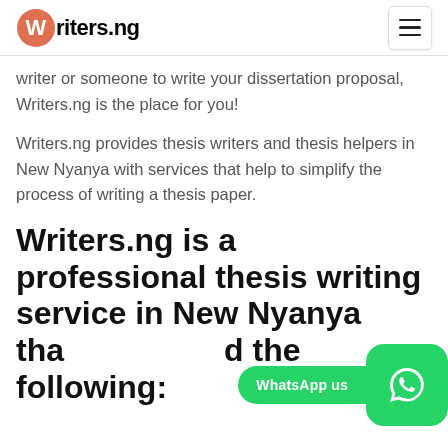[Figure (logo): Writers.ng logo with orange circle checkmark icon and bold text]
writer or someone to write your dissertation proposal, Writers.ng is the place for you!
Writers.ng provides thesis writers and thesis helpers in New Nyanya with services that help to simplify the process of writing a thesis paper.
Writers.ng is a professional thesis writing service in New Nyanya tha... the following:
[Figure (other): WhatsApp us button with green WhatsApp icon]